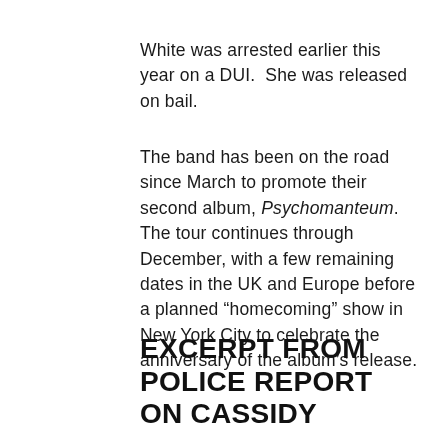White was arrested earlier this year on a DUI.  She was released on bail.
The band has been on the road since March to promote their second album, Psychomanteum. The tour continues through December, with a few remaining dates in the UK and Europe before a planned “homcoming” show in New York City to celebrate the anniversary of the album’s release.
EXCERPT FROM POLICE REPORT ON CASSIDY